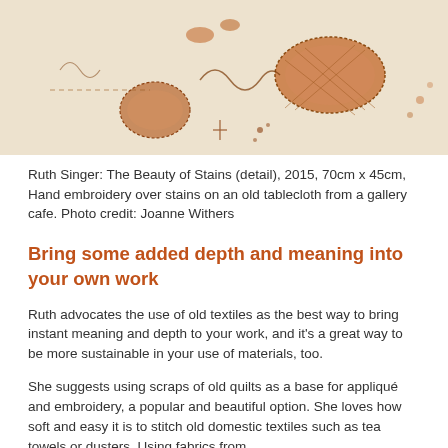[Figure (photo): Close-up of embroidery artwork on an old tablecloth, showing hand-stitched patterns in warm terracotta, brown and cream tones on a light background. Ruth Singer: The Beauty of Stains (detail), 2015.]
Ruth Singer: The Beauty of Stains (detail), 2015, 70cm x 45cm, Hand embroidery over stains on an old tablecloth from a gallery cafe. Photo credit: Joanne Withers
Bring some added depth and meaning into your own work
Ruth advocates the use of old textiles as the best way to bring instant meaning and depth to your work, and it’s a great way to be more sustainable in your use of materials, too.
She suggests using scraps of old quilts as a base for appliqué and embroidery, a popular and beautiful option. She loves how soft and easy it is to stitch old domestic textiles such as tea towels or dusters. Using fabrics from